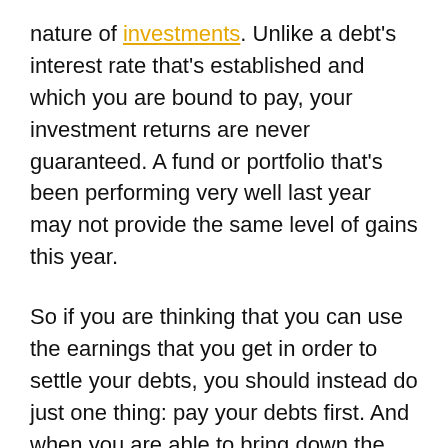nature of investments. Unlike a debt's interest rate that's established and which you are bound to pay, your investment returns are never guaranteed. A fund or portfolio that's been performing very well last year may not provide the same level of gains this year.
So if you are thinking that you can use the earnings that you get in order to settle your debts, you should instead do just one thing: pay your debts first. And when you are able to bring down the size of your debts to a level where you have spare cash, then that's the appropriate chance to go on investing.